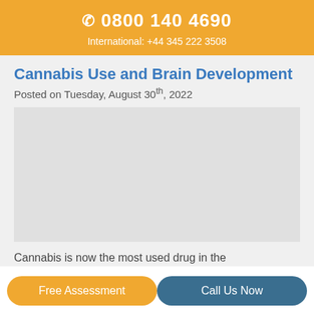0800 140 4690
International: +44 345 222 3508
Cannabis Use and Brain Development
Posted on Tuesday, August 30th, 2022
[Figure (photo): Image related to cannabis use and brain development article]
Cannabis is now the most used drug in the
Free Assessment
Call Us Now